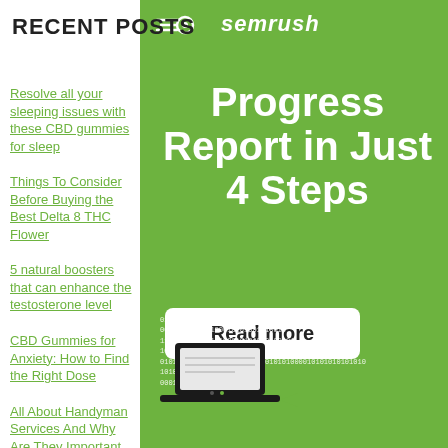RECENT POSTS
[Figure (logo): SEMrush logo with speed-lines icon and italic text 'semrush' on green background]
Progress Report in Just 4 Steps
Resolve all your sleeping issues with these CBD gummies for sleep
Things To Consider Before Buying the Best Delta 8 THC Flower
5 natural boosters that can enhance the testosterone level
CBD Gummies for Anxiety: How to Find the Right Dose
All About Handyman Services And Why Are They Important
Read more
[Figure (illustration): Binary/code text overlay with a laptop/tablet device icon at the bottom on green background]